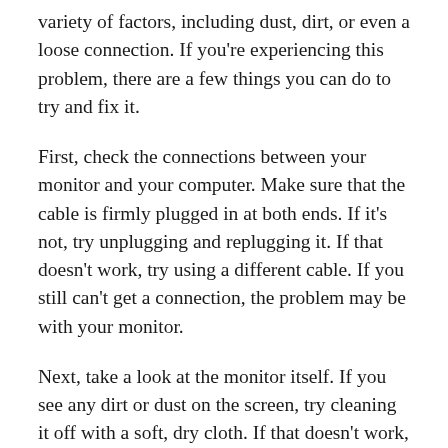variety of factors, including dust, dirt, or even a loose connection. If you're experiencing this problem, there are a few things you can do to try and fix it.
First, check the connections between your monitor and your computer. Make sure that the cable is firmly plugged in at both ends. If it's not, try unplugging and replugging it. If that doesn't work, try using a different cable. If you still can't get a connection, the problem may be with your monitor.
Next, take a look at the monitor itself. If you see any dirt or dust on the screen, try cleaning it off with a soft, dry cloth. If that doesn't work, you may need to use a slightly dampened cloth. Be sure not to use any cleaning solutions, as they